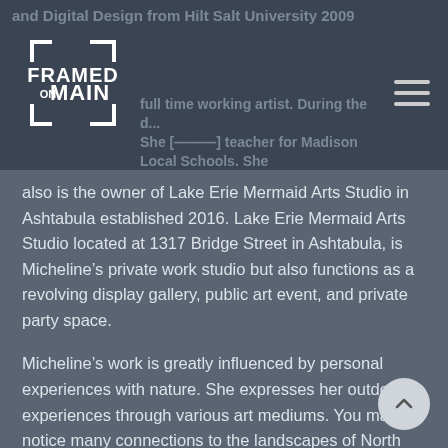and Digital Design from Hilt Salt University 2009
[Figure (logo): Framed On Main logo — white text on dark background with bracket/frame graphic]
full time working artist. During the d... She [served as] teacher for Madison Local Schools. She also is the owner of Lake Erie Mermaid Arts Studio in Ashtabula established 2016. Lake Erie Mermaid Arts Studio located at 1317 Bridge Street in Ashtabula, is Micheline’s private work studio but also functions as a revolving display gallery, public art event, and private party space.
Micheline’s work is greatly influenced by personal experiences with nature. She expresses her outdoor experiences through various art mediums. You may notice many connections to the landscapes of North East Ohio in her art pieces. Current works are primarily paintings and the style is rich with color and textures. Her body of work is meant to be a